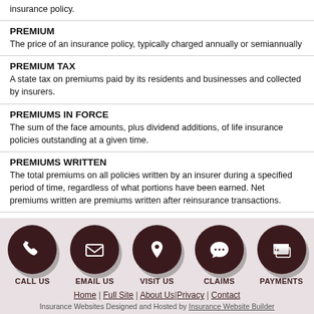insurance policy.
PREMIUM
The price of an insurance policy, typically charged annually or semiannually
PREMIUM TAX
A state tax on premiums paid by its residents and businesses and collected by insurers.
PREMIUMS IN FORCE
The sum of the face amounts, plus dividend additions, of life insurance policies outstanding at a given time.
PREMIUMS WRITTEN
The total premiums on all policies written by an insurer during a specified period of time, regardless of what portions have been earned. Net premiums written are premiums written after reinsurance transactions.
[Figure (infographic): Five dark circular icons with labels: CALL US (phone), EMAIL US (envelope), VISIT US (map pin), CLAIMS (speech bubble with dots), PAYMENTS (wallet/card)]
Home | Full Site | About Us | Privacy | Contact
Insurance Websites Designed and Hosted by Insurance Website Builder